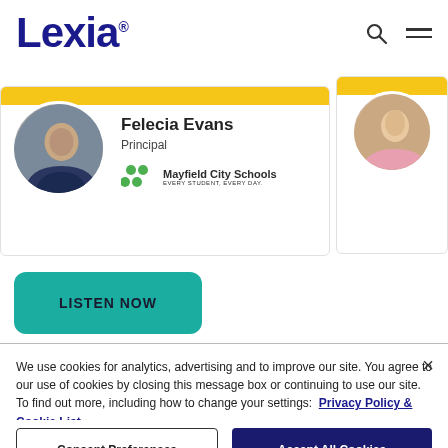[Figure (logo): Lexia logo with registered trademark in dark navy blue]
[Figure (photo): Profile card for Felecia Evans, Principal at Mayfield City Schools, with circular photo and yellow top bar]
[Figure (photo): Partial profile card showing a woman in pink jacket, circular photo with yellow top bar]
LISTEN NOW
We use cookies for analytics, advertising and to improve our site. You agree to our use of cookies by closing this message box or continuing to use our site. To find out more, including how to change your settings:  Privacy Policy & Cookie List
Consent Preferences
Accept All Cookies